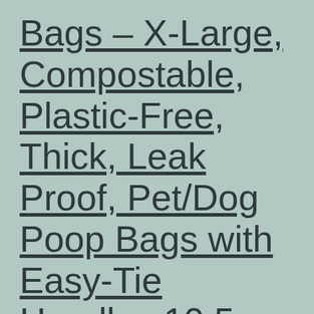Bags – X-Large, Compostable, Plastic-Free, Thick, Leak Proof, Pet/Dog Poop Bags with Easy-Tie Handles,10.5 x 18.5 inch
Price: [price_with_discount](as of [price_update_date] – Details) [ad_1] Product Description Recommended For You Cat Poop Litter Waste Bags Cat waste bags with